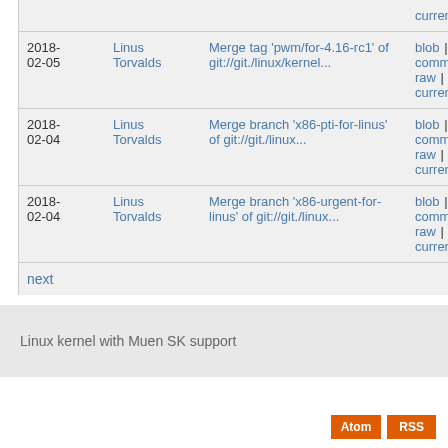| Date | Author | Commit message | Actions |
| --- | --- | --- | --- |
|  |  | current |  |
| 2018-02-05 | Linus Torvalds | Merge tag 'pwm/for-4.16-rc1' of git://git./linux/kernel... | blob | commitdiff | raw | diff to current |
| 2018-02-04 | Linus Torvalds | Merge branch 'x86-pti-for-linus' of git://git./linux... | blob | commitdiff | raw | diff to current |
| 2018-02-04 | Linus Torvalds | Merge branch 'x86-urgent-for-linus' of git://git./linux... | blob | commitdiff | raw | diff to current |
next
Linux kernel with Muen SK support
Atom  RSS